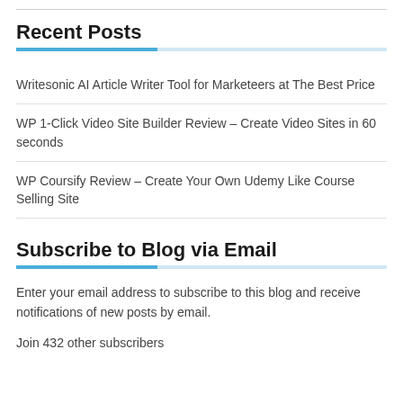Recent Posts
Writesonic AI Article Writer Tool for Marketeers at The Best Price
WP 1-Click Video Site Builder Review – Create Video Sites in 60 seconds
WP Coursify Review – Create Your Own Udemy Like Course Selling Site
Subscribe to Blog via Email
Enter your email address to subscribe to this blog and receive notifications of new posts by email.
Join 432 other subscribers